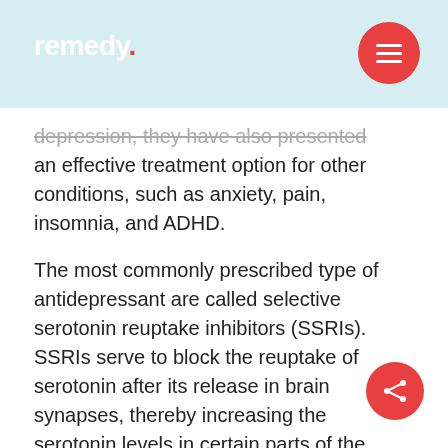remedy.
depression, they have also presented an effective treatment option for other conditions, such as anxiety, pain, insomnia, and ADHD.
The most commonly prescribed type of antidepressant are called selective serotonin reuptake inhibitors (SSRIs). SSRIs serve to block the reuptake of serotonin after its release in brain synapses, thereby increasing the serotonin levels in certain parts of the brain. Popular examples of these medications include Fluoxetine (Prozac), Citalopram (Celexa), Sertraline (Zoloft), and escitalopram